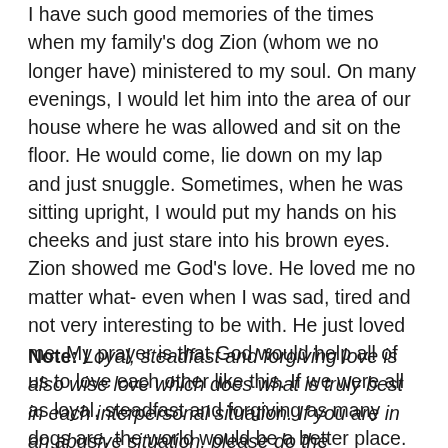I have such good memories of the times when my family's dog Zion (whom we no longer have) ministered to my soul. On many evenings, I would let him into the area of our house where he was allowed and sit on the floor. He would come, lie down on my lap and just snuggle. Sometimes, when he was sitting upright, I would put my hands on his cheeks and just stare into his brown eyes. Zion showed me God's love. He loved me no matter what- even when I was sad, tired and not very interesting to be with. He just loved me. My prayer is that God would help all of us to love each other like this. If we were all as loyal, steadfast and forgiving as many dogs are, the world would be a better place.
Note: Loyal, steadfast and forgiving love is also wise love which does what is truly best in each interpersonal situation. If you are in an abusive situation, please do the